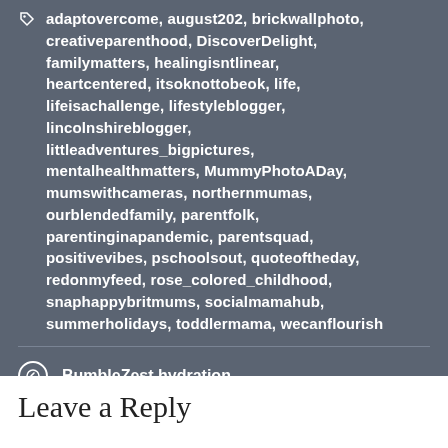adaptovercome, august202, brickwallphoto, creativeparenthood, DiscoverDelight, familymatters, healingisntlinear, heartcentered, itsoknottobeok, life, lifeisachallenge, lifestyleblogger, lincolnshireblogger, littleadventures_bigpictures, mentalhealthmatters, MummyPhotoADay, mumswithcameras, northernmumas, ourblendedfamily, parentfolk, parentinginapandemic, parentsquad, positivevibes, pschoolsout, quoteoftheday, redonmyfeed, rose_colored_childhood, snaphappybritmums, socialmamahub, summerholidays, toddlermama, wecanflourish
BumbleZest hydration
Bacon Cauliflower Cheese
Leave a Reply